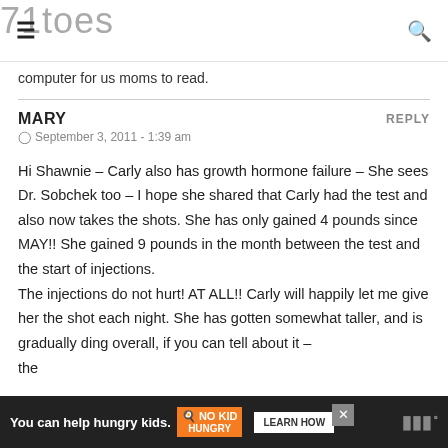71toes
computer for us moms to read.
MARY
September 3, 2011 - 1:39 am
Hi Shawnie – Carly also has growth hormone failure – She sees Dr. Sobchek too – I hope she shared that Carly had the test and also now takes the shots. She has only gained 4 pounds since MAY!! She gained 9 pounds in the month between the test and the start of injections.
The injections do not hurt! AT ALL!! Carly will happily let me give her the shot each night. She has gotten somewhat taller, and is gradually ding overall, if you can tell about it – the
[Figure (screenshot): Advertisement bar at bottom: orange No Kid Hungry ad with 'You can help hungry kids.' text, LEARN HOW button, and close X button on dark background.]